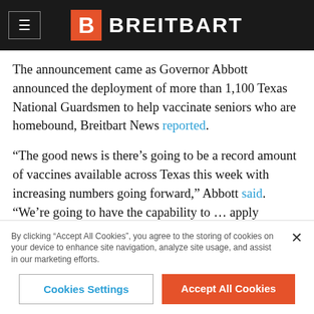BREITBART
The announcement came as Governor Abbott announced the deployment of more than 1,100 Texas National Guardsmen to help vaccinate seniors who are homebound, Breitbart News reported.
“The good news is there’s going to be a record amount of vaccines available across Texas this week with increasing numbers going forward,” Abbott said. “We’re going to have the capability to … apply vaccines very, very quickly for our seniors as well as additional populations, so that we increasingly, week by week, will be increasing the immunity that Texans have.”
Currently, just over five percent of Texans have received full COVID-19 vaccinations. The statewide effort stopped in its tracks
By clicking “Accept All Cookies”, you agree to the storing of cookies on your device to enhance site navigation, analyze site usage, and assist in our marketing efforts.
Cookies Settings
Accept All Cookies